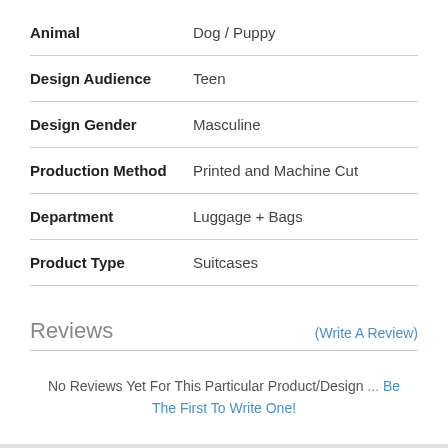| Attribute | Value |
| --- | --- |
| Animal | Dog / Puppy |
| Design Audience | Teen |
| Design Gender | Masculine |
| Production Method | Printed and Machine Cut |
| Department | Luggage + Bags |
| Product Type | Suitcases |
Reviews
(Write A Review)
No Reviews Yet For This Particular Product/Design ... Be The First To Write One!